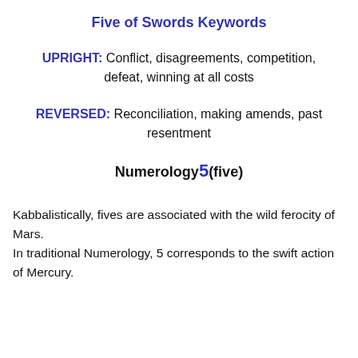Five of Swords Keywords
UPRIGHT: Conflict, disagreements, competition, defeat, winning at all costs
REVERSED: Reconciliation, making amends, past resentment
Numerology 5 (five)
Kabbalistically, fives are associated with the wild ferocity of Mars.
In traditional Numerology, 5 corresponds to the swift action of Mercury.